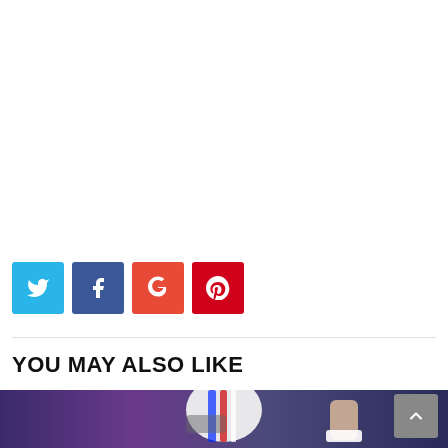[Figure (other): Social share buttons: Twitter (light blue), Facebook (dark blue), Google+ (orange-red), Pinterest (red)]
YOU MAY ALSO LIKE
[Figure (photo): Football player wearing a Buffalo Bills helmet (white with red and blue markings), raising a fist, blurred crowd background]